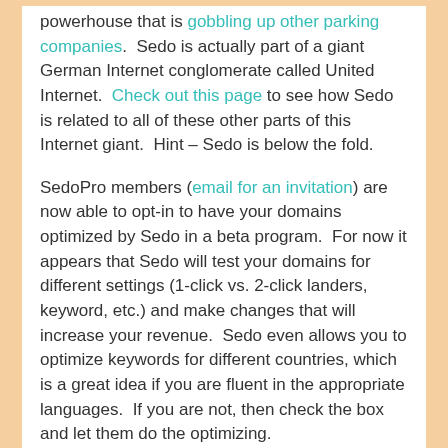powerhouse that is gobbling up other parking companies. Sedo is actually part of a giant German Internet conglomerate called United Internet. Check out this page to see how Sedo is related to all of these other parts of this Internet giant. Hint – Sedo is below the fold.
SedoPro members (email for an invitation) are now able to opt-in to have your domains optimized by Sedo in a beta program. For now it appears that Sedo will test your domains for different settings (1-click vs. 2-click landers, keyword, etc.) and make changes that will increase your revenue. Sedo even allows you to optimize keywords for different countries, which is a great idea if you are fluent in the appropriate languages. If you are not, then check the box and let them do the optimizing.
To apply these beta traffic optimization features to